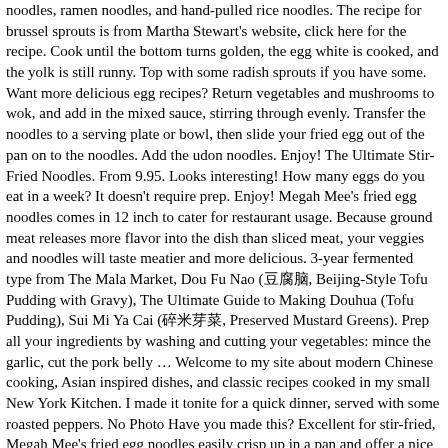noodles, ramen noodles, and hand-pulled rice noodles. The recipe for brussel sprouts is from Martha Stewart's website, click here for the recipe. Cook until the bottom turns golden, the egg white is cooked, and the yolk is still runny. Top with some radish sprouts if you have some. Want more delicious egg recipes? Return vegetables and mushrooms to wok, and add in the mixed sauce, stirring through evenly. Transfer the noodles to a serving plate or bowl, then slide your fried egg out of the pan on to the noodles. Add the udon noodles. Enjoy! The Ultimate Stir-Fried Noodles. From 9.95. Looks interesting! How many eggs do you eat in a week? It doesn't require prep. Enjoy! Megah Mee's fried egg noodles comes in 12 inch to cater for restaurant usage. Because ground meat releases more flavor into the dish than sliced meat, your veggies and noodles will taste meatier and more delicious. 3-year fermented type from The Mala Market, Dou Fu Nao (豆腐脑, Beijing-Style Tofu Pudding with Gravy), The Ultimate Guide to Making Douhua (Tofu Pudding), Sui Mi Ya Cai (碎米芽菜, Preserved Mustard Greens). Prep all your ingredients by washing and cutting your vegetables: mince the garlic, cut the pork belly … Welcome to my site about modern Chinese cooking, Asian inspired dishes, and classic recipes cooked in my small New York Kitchen. I made it tonite for a quick dinner, served with some roasted peppers. No Photo Have you made this? Excellent for stir-fried, Megah Mee's fried egg noodles easily crisp up in a pan and offer a nice crispy texture. (This dish keeps well and you can definitely use it for meal prep. Vegetable. Add about